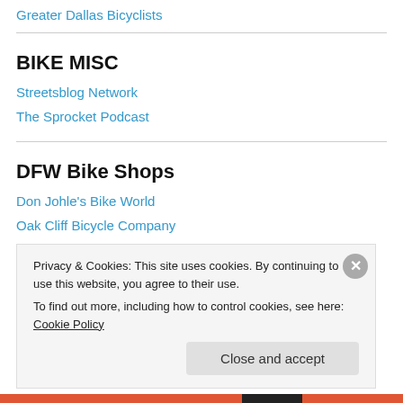Greater Dallas Bicyclists
BIKE MISC
Streetsblog Network
The Sprocket Podcast
DFW Bike Shops
Don Johle's Bike World
Oak Cliff Bicycle Company
Richardson Bike Mart
Privacy & Cookies: This site uses cookies. By continuing to use this website, you agree to their use. To find out more, including how to control cookies, see here: Cookie Policy
Close and accept